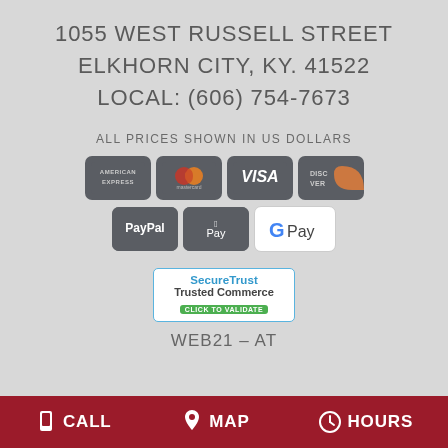1055 WEST RUSSELL STREET
ELKHORN CITY, KY. 41522
LOCAL: (606) 754-7673
ALL PRICES SHOWN IN US DOLLARS
[Figure (logo): Payment method icons: American Express, Mastercard, VISA, Discover, PayPal, Apple Pay, Google Pay]
[Figure (logo): SecureTrust Trusted Commerce - Click to Validate badge]
WEB21 - AT
CALL   MAP   HOURS